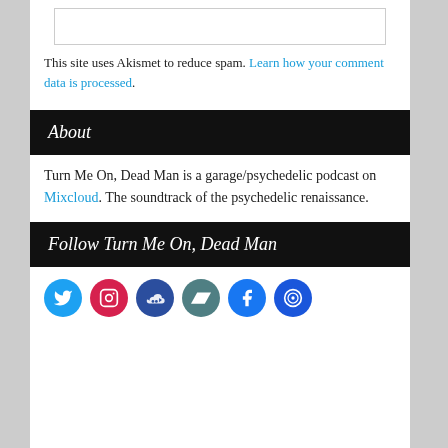This site uses Akismet to reduce spam. Learn how your comment data is processed.
About
Turn Me On, Dead Man is a garage/psychedelic podcast on Mixcloud. The soundtrack of the psychedelic renaissance.
Follow Turn Me On, Dead Man
[Figure (infographic): Six social media icons in circles: Twitter (blue), Instagram (pink/red), Mixcloud (dark blue), Bandcamp (teal), Facebook (blue), Mixcloud/other (dark blue)]